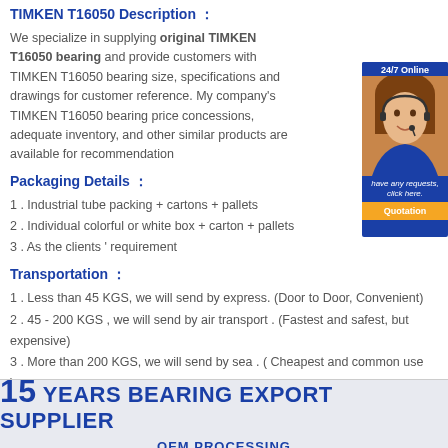TIMKEN T16050 Description :
We specialize in supplying original TIMKEN T16050 bearing and provide customers with TIMKEN T16050 bearing size, specifications and drawings for customer reference. My company's TIMKEN T16050 bearing price concessions, adequate inventory, and other similar products are available for recommendation
[Figure (photo): Customer service representative with headset, 24/7 Online banner, sidebar with quotation button]
Packaging Details :
1 . Industrial tube packing + cartons + pallets
2 . Individual colorful or white box + carton + pallets
3 . As the clients ' requirement
Transportation :
1 . Less than 45 KGS, we will send by express. (Door to Door, Convenient)
2 . 45 - 200 KGS , we will send by air transport . (Fastest and safest, but expensive)
3 . More than 200 KGS, we will send by sea . ( Cheapest and common use )
[Figure (infographic): 15 YEARS BEARING EXPORT SUPPLIER banner with OEM PROCESSING subtitle on light blue background]